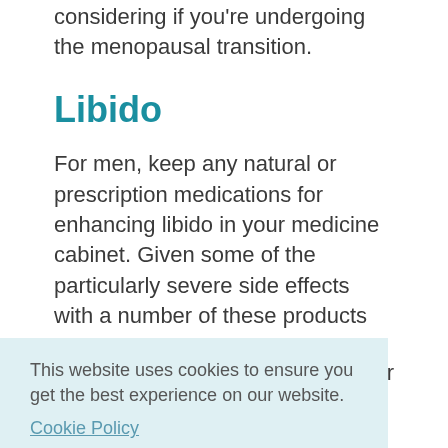considering if you're undergoing the menopausal transition.
Libido
For men, keep any natural or prescription medications for enhancing libido in your medicine cabinet. Given some of the particularly severe side effects with a number of these products currently on the market, your
This website uses cookies to ensure you get the best experience on our website.
Cookie Policy
Got it!
ble for sexual health problems, others can really